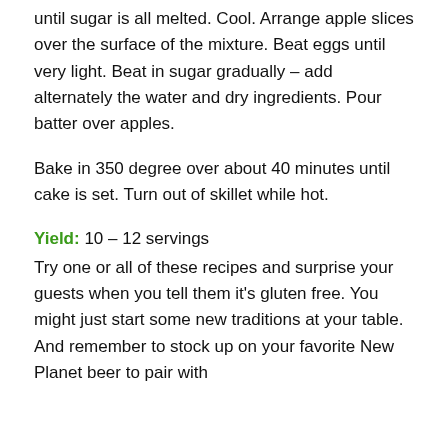until sugar is all melted. Cool. Arrange apple slices over the surface of the mixture. Beat eggs until very light. Beat in sugar gradually – add alternately the water and dry ingredients. Pour batter over apples.
Bake in 350 degree over about 40 minutes until cake is set. Turn out of skillet while hot.
Yield: 10 – 12 servings
Try one or all of these recipes and surprise your guests when you tell them it's gluten free. You might just start some new traditions at your table. And remember to stock up on your favorite New Planet beer to pair with